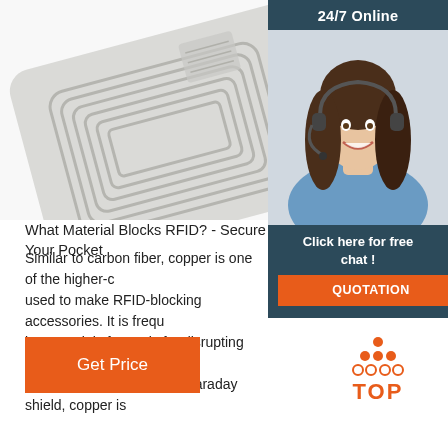[Figure (photo): RFID inlay/tag with visible antenna coil, white/grey card, angled perspective shot on white background]
[Figure (photo): 24/7 Online customer service panel with dark teal background and text '24/7 Online', featuring a smiling female customer service representative wearing a headset in a blue shirt]
Click here for free chat !
QUOTATION
What Material Blocks RFID? - Secure Your Pocket
Similar to carbon fiber, copper is one of the higher-c... used to make RFID-blocking accessories. It is frequ... because it is fantastic for disrupting signals and kee... safe. When arranged in a Faraday shield, copper is
[Figure (other): Orange 'Get Price' button]
[Figure (logo): TOP logo with orange dots arranged in triangle shape above orange bold text 'TOP']